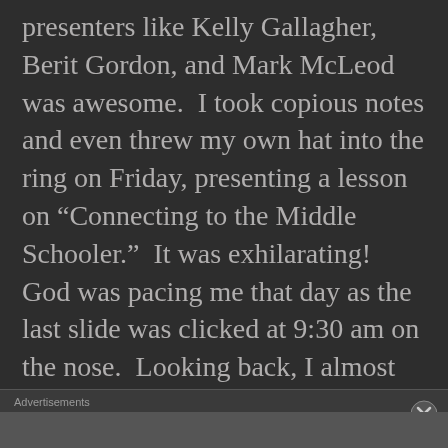presenters like Kelly Gallagher, Berit Gordon, and Mark McLeod was awesome.  I took copious notes and even threw my own hat into the ring on Friday, presenting a lesson on “Connecting to the Middle Schooler.”  It was exhilarating!  God was pacing me that day as the last slide was clicked at 9:30 am on the nose.  Looking back, I almost wish I would have dropped the mic to the gym floor.  Then again, that might have jacked up the system.
Advertisements